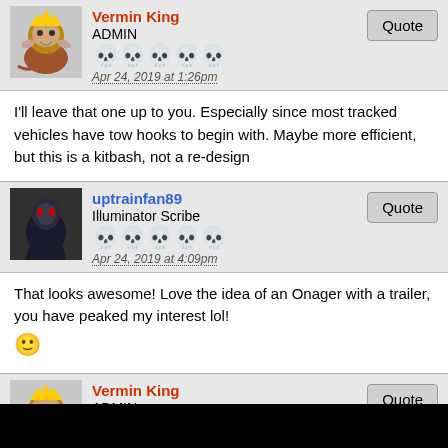Vermin King | ADMIN | Apr 24, 2019 at 1:26pm
I'll leave that one up to you. Especially since most tracked vehicles have tow hooks to begin with. Maybe more efficient, but this is a kitbash, not a re-design
uptrainfan89 | Illuminator Scribe | Apr 24, 2019 at 4:09pm
That looks awesome! Love the idea of an Onager with a trailer, you have peaked my interest lol! 🙂
Vermin King | ADMIN | Apr 24, 2019 at 4:19pm
It has been years since I traveled with my uncle in his semi, but in his truck, the engine went way back into the cab. To get into the sleeper, you actually